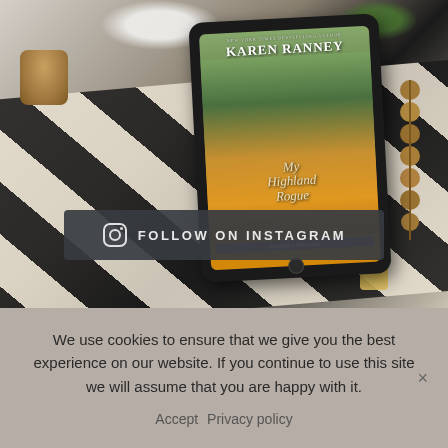[Figure (photo): A photograph showing a tablet/e-reader displaying the book cover 'My Highland Rogue' by Karen Ranney (A Highland Elite Novel), placed on a black and white woven textile/blanket with decorative items: a brown pillar candle, white flowers, wooden beads, gold tassels, and green leaves in the background. A dark button bar with Instagram icon reads 'FOLLOW ON INSTAGRAM'.]
We use cookies to ensure that we give you the best experience on our website. If you continue to use this site we will assume that you are happy with it.
Accept  Privacy policy